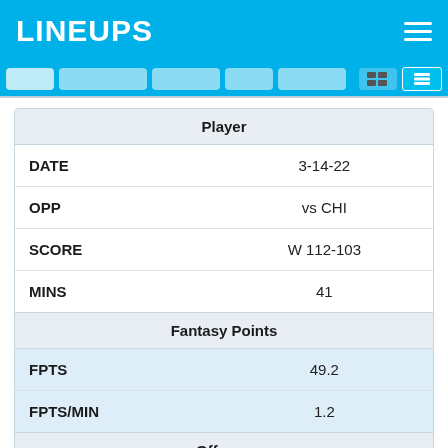LINEUPS
| Player |  |
| --- | --- |
| DATE | 3-14-22 |
| OPP | vs CHI |
| SCORE | W 112-103 |
| MINS | 41 |
| Fantasy Points |  |
| FPTS | 49.2 |
| FPTS/MIN | 1.2 |
| Offense |  |
| PTS | 34 |
| AST | 6 |
| FGM | 13 |